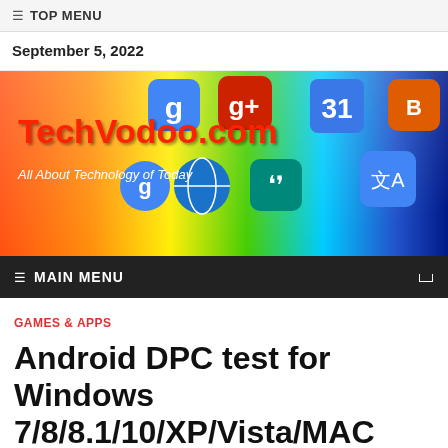TOP MENU
September 5, 2022
[Figure (illustration): TechVodoo.com website banner with colorful app icons on gradient background. Text reads: TechVodoo.com — All About Technology of Today]
MAIN MENU
GAMES & APPS
Android DPC test for Windows 7/8/8.1/10/XP/Vista/MAC OS/Laptop